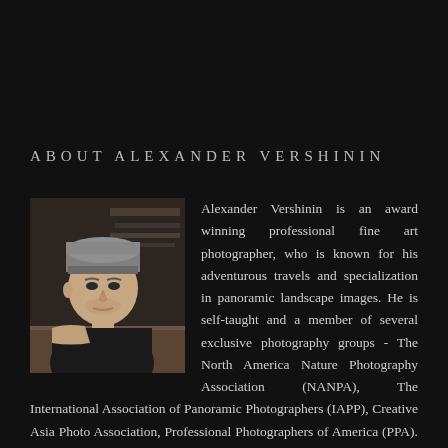ABOUT ALEXANDER VERSHININ
[Figure (photo): Portrait photo of Alexander Vershinin, a man wearing a grey knit beanie hat and dark t-shirt, seated indoors with wooden shelving visible in the background.]
Alexander Vershinin is an award winning professional fine art photographer, who is known for his adventurous travels and specialization in panoramic landscape images. He is self-taught and a member of several exclusive photography groups - The North America Nature Photography Association (NANPA), The International Association of Panoramic Photographers (IAPP), Creative Asia Photo Association, Professional Photographers of America (PPA). He can often be found on mountain or desert expeditions. He goes great distances in Australia, South and North America, and Asia in search of great photos. That's where his unique